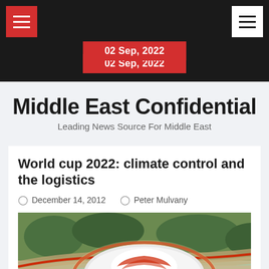Navigation bar with hamburger menus and date 02 Sep, 2022
Middle East Confidential
Leading News Source For Middle East
World cup 2022: climate control and the logistics
December 14, 2012   Peter Mulvany
[Figure (photo): Aerial rendering of a futuristic stadium complex with curved white roof, surrounding greenery, roads, and parking areas — concept art for Qatar 2022 World Cup venue]